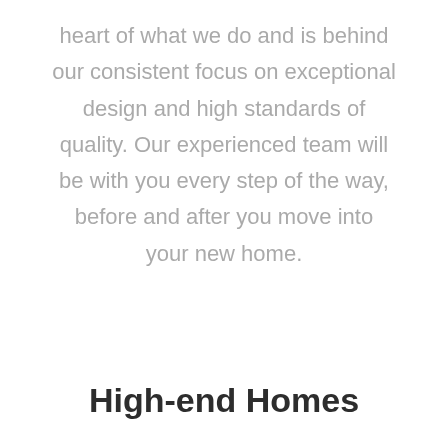heart of what we do and is behind our consistent focus on exceptional design and high standards of quality. Our experienced team will be with you every step of the way, before and after you move into your new home.
High-end Homes